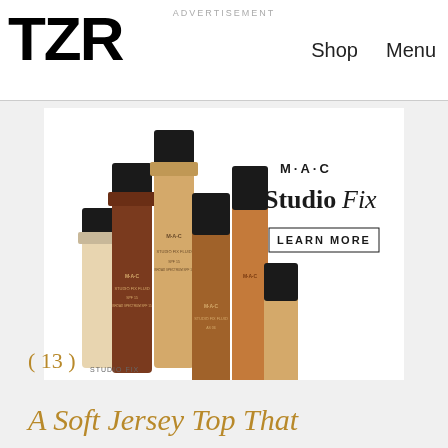TZR
Shop   Menu
ADVERTISEMENT
[Figure (photo): MAC StudioFix advertisement showing multiple foundation bottles of various shades with black caps arranged together. Text reads 'M·A·C StudioFix' and 'LEARN MORE'.]
( 13 )
A Soft Jersey Top That